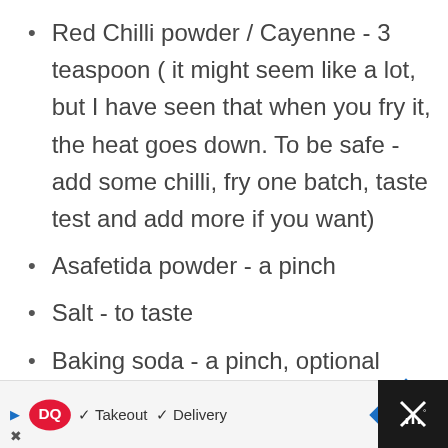Red Chilli powder / Cayenne - 3 teaspoon ( it might seem like a lot, but I have seen that when you fry it, the heat goes down. To be safe - add some chilli, fry one batch, taste test and add more if you want)
Asafetida powder - a pinch
Salt - to taste
Baking soda - a pinch, optional
Sunflower / Coconut Oil - enough for deep frying